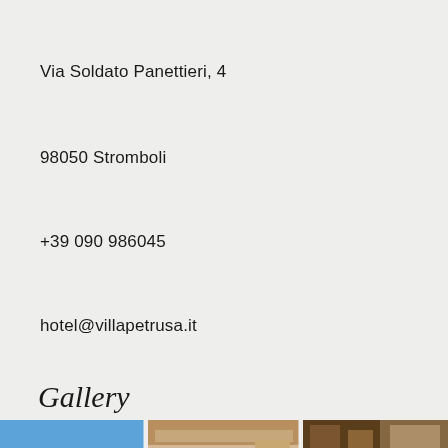Via Soldato Panettieri, 4
98050 Stromboli
+39 090 986045
hotel@villapetrusa.it
Gallery
[Figure (photo): Three gallery photos: a white building exterior with blue sky and green plants, an interior room with wooden elements, and a dark wooden door/furniture detail. A Privacy & Cookies Policy banner overlays the middle image.]